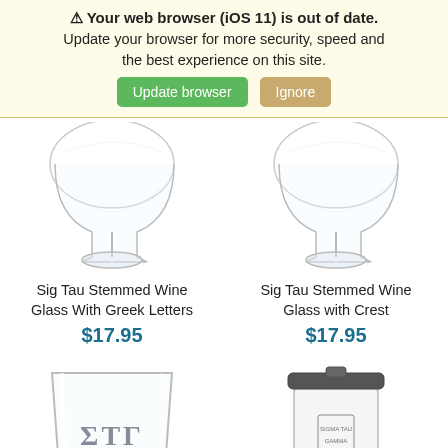Your web browser (iOS 11) is out of date. Update your browser for more security, speed and the best experience on this site. [Update browser] [Ignore]
[Figure (photo): Sig Tau Stemmed Wine Glass With Greek Letters product photo]
Sig Tau Stemmed Wine Glass With Greek Letters
$17.95
[Figure (photo): Sig Tau Stemmed Wine Glass with Crest product photo]
Sig Tau Stemmed Wine Glass with Crest
$17.95
[Figure (photo): Rocks glass with ΣΤΓ EST. 1920 etching]
[Figure (photo): White tumbler with Sig Tau crest]